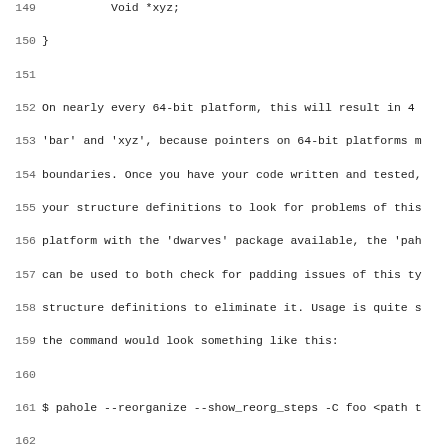Code listing lines 149-181 showing C structure padding discussion, pahole tool usage, internal API section, and code formatting section. Monospace source/documentation text.